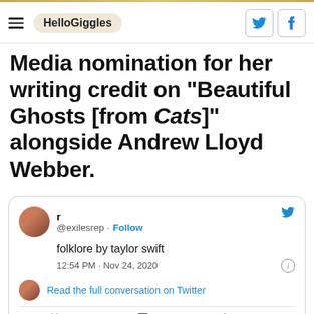HelloGiggles
Media nomination for her writing credit on "Beautiful Ghosts [from Cats]" alongside Andrew Lloyd Webber.
[Figure (screenshot): Embedded tweet from @exilesrep saying 'folklore by taylor swift', posted at 12:54 PM · Nov 24, 2020, with options to Read the full conversation on Twitter, and action buttons: 24K likes, Reply, Copy link.]